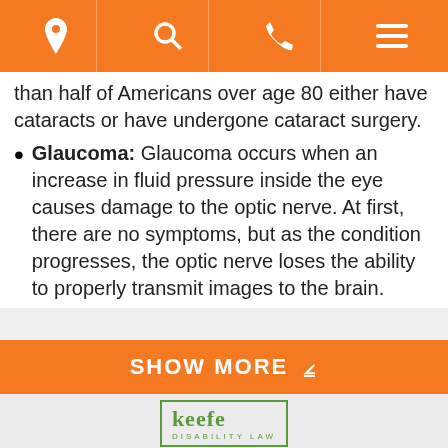Navigation bar with location, search, phone, and menu icons
than half of Americans over age 80 either have cataracts or have undergone cataract surgery.
Glaucoma: Glaucoma occurs when an increase in fluid pressure inside the eye causes damage to the optic nerve. At first, there are no symptoms, but as the condition progresses, the optic nerve loses the ability to properly transmit images to the brain.
SHOW MORE
[Figure (logo): Keefe Disability Law logo with green border]
DESKTOP SITE button
[Figure (infographic): Social media icons: Facebook (blue), LinkedIn (light blue), YouTube (red), Google My Business (yellow)]
©2022 Keefe Disability Law, All Rights Reserved, Reproduced with Permission Privacy Policy Website Built by FOSTER WEB MARKETING Website Powered By DYNAMIC SELF-SYNDICATION (DSS™)